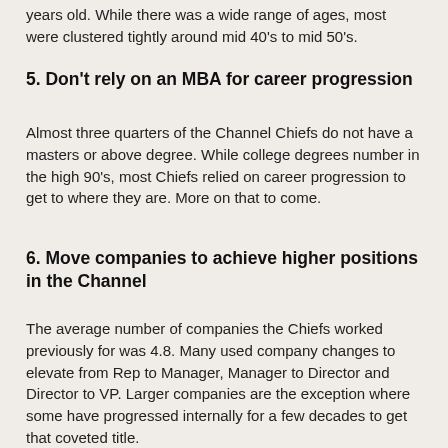years old. While there was a wide range of ages, most were clustered tightly around mid 40's to mid 50's.
5. Don't rely on an MBA for career progression
Almost three quarters of the Channel Chiefs do not have a masters or above degree. While college degrees number in the high 90's, most Chiefs relied on career progression to get to where they are. More on that to come.
6. Move companies to achieve higher positions in the Channel
The average number of companies the Chiefs worked previously for was 4.8. Many used company changes to elevate from Rep to Manager, Manager to Director and Director to VP. Larger companies are the exception where some have progressed internally for a few decades to get that coveted title.